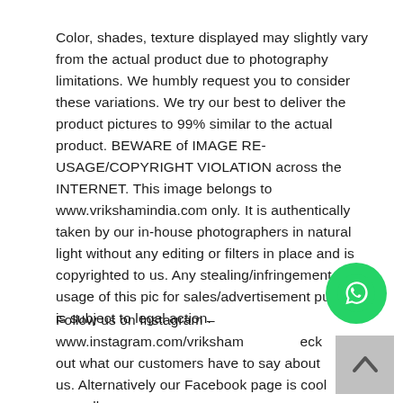Color, shades, texture displayed may slightly vary from the actual product due to photography limitations. We humbly request you to consider these variations. We try our best to deliver the product pictures to 99% similar to the actual product. BEWARE of IMAGE RE-USAGE/COPYRIGHT VIOLATION across the INTERNET. This image belongs to www.vrikshamindia.com only. It is authentically taken by our in-house photographers in natural light without any editing or filters in place and is copyrighted to us. Any stealing/infringement or usage of this pic for sales/advertisement purposes is subject to legal action.
Follow us on Instagram – www.instagram.com/vriksham – check out what our customers have to say about us. Alternatively our Facebook page is cool as well – https://www.facebook.com/Vrikshamjewellery/.